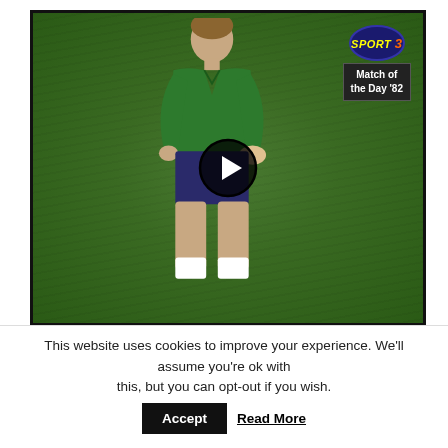[Figure (screenshot): Video player screenshot showing a football referee in green kit running on a grass pitch. A circular play button overlay is centered on the image. In the top-right corner: a 'SPORT 3' logo (blue oval with yellow text) and below it a dark box reading 'Match of the Day '82'.]
This website uses cookies to improve your experience. We'll assume you're ok with this, but you can opt-out if you wish.  Accept  Read More